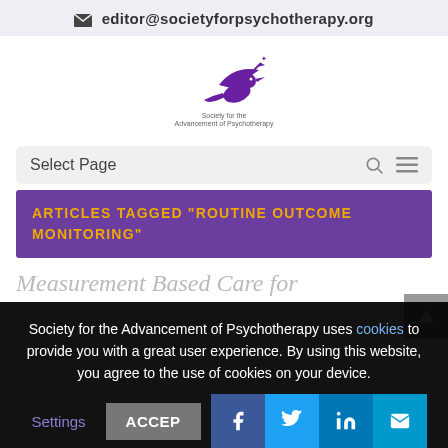✉ editor@societyforpsychotherapy.org
[Figure (logo): Society for the Advancement of Psychotherapy bird logo with text below]
Select Page
ARTICLES TAGGED "ROUTINE OUTCOME MONITORING"
Measurement Based Care for
Society for the Advancement of Psychotherapy uses cookies to provide you with a great user experience. By using this website, you agree to the use of cookies on your device.
Settings | ACCEPT